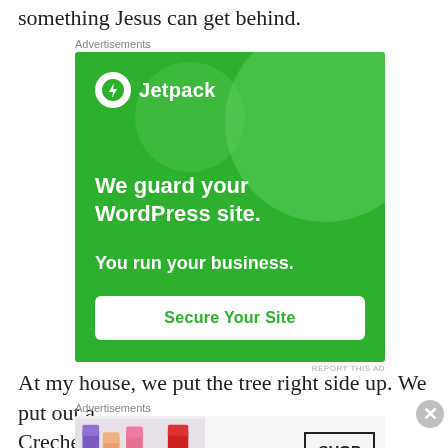something Jesus can get behind.
Advertisements
[Figure (other): Jetpack advertisement: green background with circle decorations, Jetpack logo (white circle with lightning bolt icon), tagline 'We guard your WordPress site. You run your business.' and a 'Secure Your Site' button.]
REPORT THIS AD
At my house, we put the tree right side up. We put out a Creche that was hand-painted by Harold's mother. There'
Advertisements
[Figure (other): MAC Cosmetics advertisement showing lipsticks in purple, peach, pink, and red colors with the MAC logo and a 'SHOP NOW' button.]
REPORT THIS AD